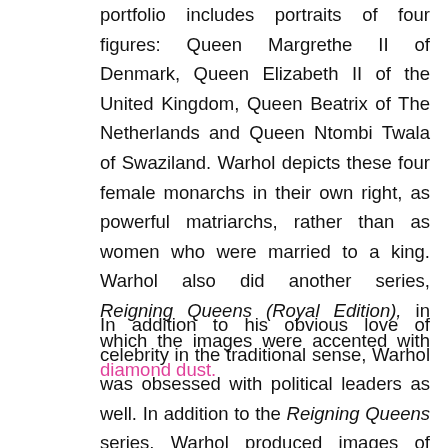portfolio includes portraits of four figures: Queen Margrethe II of Denmark, Queen Elizabeth II of the United Kingdom, Queen Beatrix of The Netherlands and Queen Ntombi Twala of Swaziland. Warhol depicts these four female monarchs in their own right, as powerful matriarchs, rather than as women who were married to a king. Warhol also did another series, Reigning Queens (Royal Edition), in which the images were accented with diamond dust.
In addition to his obvious love of celebrity in the traditional sense, Warhol was obsessed with political leaders as well. In addition to the Reigning Queens series, Warhol produced images of figures such as John F. Kennedy,